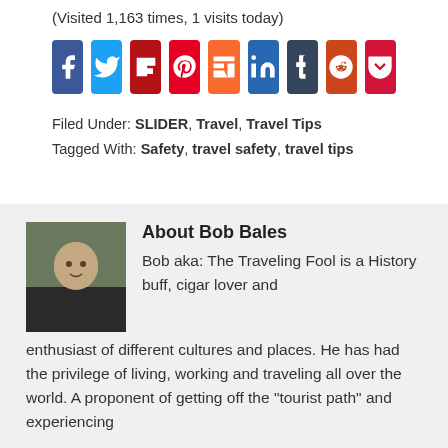(Visited 1,163 times, 1 visits today)
[Figure (infographic): Row of social media share buttons: Facebook, Twitter, Flipboard, Pinterest, Mix, LinkedIn, Tumblr, Reddit, Pocket]
Filed Under: SLIDER, Travel, Travel Tips
Tagged With: Safety, travel safety, travel tips
About Bob Bales
Bob aka: The Traveling Fool is a History buff, cigar lover and enthusiast of different cultures and places. He has had the privilege of living, working and traveling all over the world. A proponent of getting off the "tourist path" and experiencing